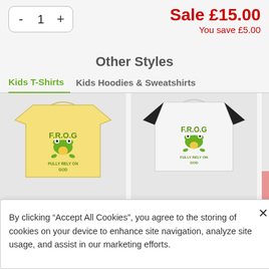Sale £15.00
You save £5.00
Other Styles
Kids T-Shirts
Kids Hoodies & Sweatshirts
[Figure (photo): Yellow kids t-shirt with F.R.O.G FULLY RELY ON GOD frog graphic]
[Figure (photo): White/black raglan kids shirt with F.R.O.G FULLY RELY ON GOD frog graphic]
By clicking “Accept All Cookies”, you agree to the storing of cookies on your device to enhance site navigation, analyze site usage, and assist in our marketing efforts.